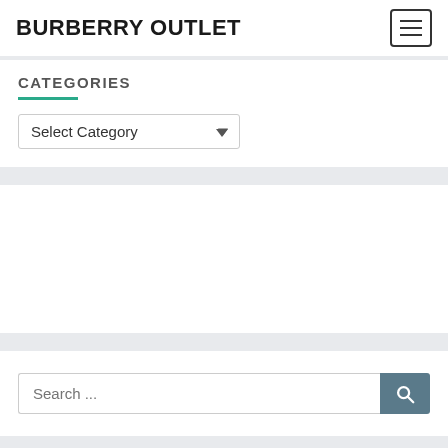BURBERRY OUTLET
CATEGORIES
[Figure (screenshot): Dropdown select input labeled 'Select Category' with a chevron arrow]
[Figure (screenshot): Empty white content area/advertisement block]
[Figure (screenshot): Search input field with placeholder text 'Search ...' and a teal/dark search button with magnifying glass icon]